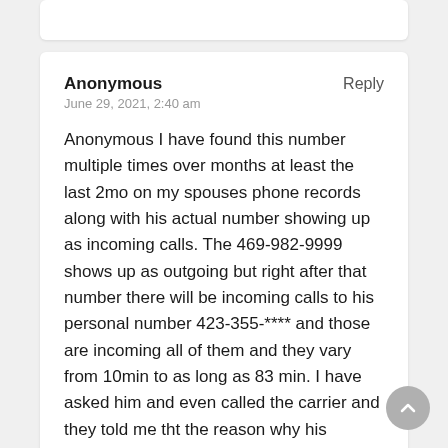Anonymous
Reply
June 29, 2021, 2:40 am
Anonymous I have found this number multiple times over months at least the last 2mo on my spouses phone records along with his actual number showing up as incoming calls. The 469-982-9999 shows up as outgoing but right after that number there will be incoming calls to his personal number 423-355-**** and those are incoming all of them and they vary from 10min to as long as 83 min. I have asked him and even called the carrier and they told me tht the reason why his number is showing up the way that it is is because it is